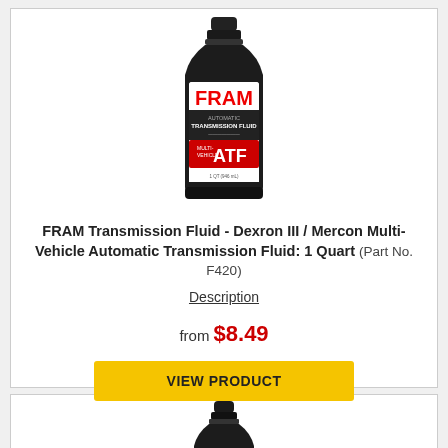[Figure (photo): FRAM Automatic Transmission Fluid 1 Quart bottle, black bottle with red FRAM logo and Multi-Vehicle ATF label]
FRAM Transmission Fluid - Dexron III / Mercon Multi-Vehicle Automatic Transmission Fluid: 1 Quart (Part No. F420)
Description
from $8.49
VIEW PRODUCT
[Figure (photo): Bottom portion of another black fluid bottle, partially visible]